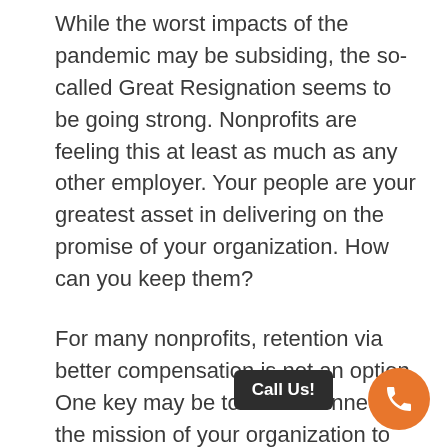While the worst impacts of the pandemic may be subsiding, the so-called Great Resignation seems to be going strong. Nonprofits are feeling this at least as much as any other employer. Your people are your greatest asset in delivering on the promise of your organization. How can you keep them?
For many nonprofits, retention via better compensation is not an option. One key may be to better connect the mission of your organization to the people who work there. Working for a nonprofit often is a choice partially motivated by an individual's identification with what your organization stands for